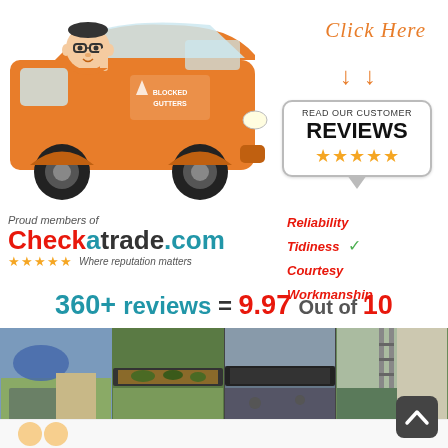[Figure (illustration): Orange Blocked Gutters branded van with cartoon man illustration, 'Click Here' handwritten text with arrows, speech bubble with 'READ OUR CUSTOMER REVIEWS' and five stars]
[Figure (logo): Checkatrade.com logo with 'Proud members of' text, five stars and 'Where reputation matters' tagline]
Reliability Tidiness Courtesy Workmanship
360+ reviews = 9.97 Out of 10
[Figure (photo): Strip of four photos showing gutter cleaning work before and after]
[Figure (other): Back to top button (dark rounded square with up-caret)]